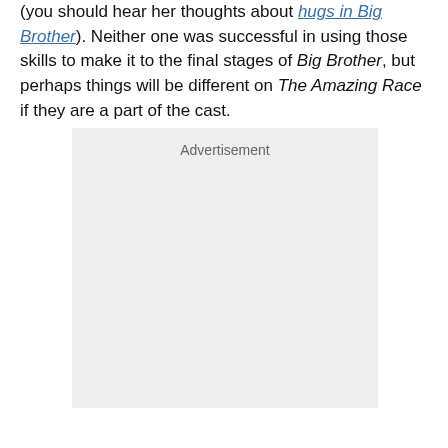(you should hear her thoughts about hugs in Big Brother). Neither one was successful in using those skills to make it to the final stages of Big Brother, but perhaps things will be different on The Amazing Race if they are a part of the cast.
[Figure (other): Advertisement placeholder box with gray background]